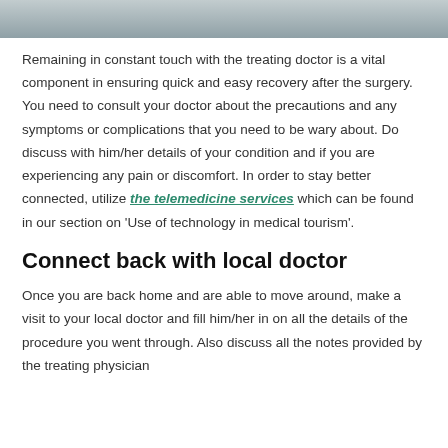[Figure (photo): Partial photo visible at the top of the page, showing a person, cropped to a narrow horizontal bar]
Remaining in constant touch with the treating doctor is a vital component in ensuring quick and easy recovery after the surgery. You need to consult your doctor about the precautions and any symptoms or complications that you need to be wary about. Do discuss with him/her details of your condition and if you are experiencing any pain or discomfort. In order to stay better connected, utilize the telemedicine services which can be found in our section on 'Use of technology in medical tourism'.
Connect back with local doctor
Once you are back home and are able to move around, make a visit to your local doctor and fill him/her in on all the details of the procedure you went through. Also discuss all the notes provided by the treating physician